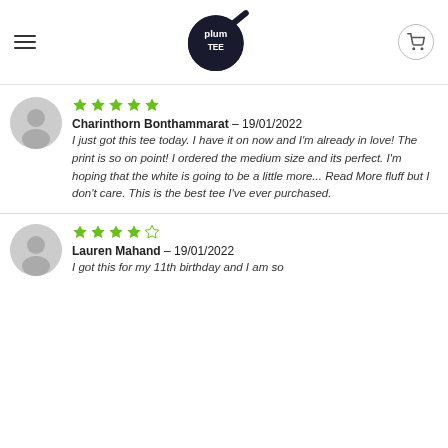Plum Tee logo with hamburger menu and cart icon
★★★★★ Charinthorn Bonthammarat – 19/01/2022 I just got this tee today. I have it on now and I'm already in love! The print is so on point! I ordered the medium size and its perfect. I'm hoping that the white is going to be a little more... Read More fluff but I don't care. This is the best tee I've ever purchased.
★★★★☆ Lauren Mahand – 19/01/2022 I got this for my 11th birthday and I am so